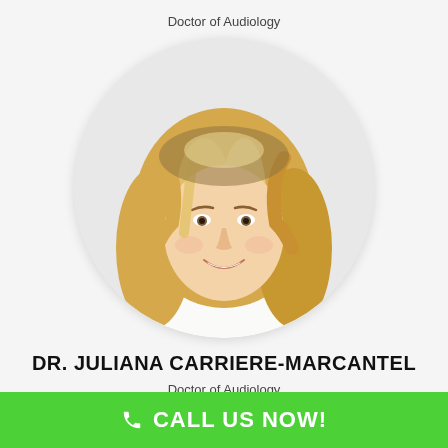Doctor of Audiology
[Figure (photo): Circular portrait photo of Dr. Juliana Carriere-Marcantel, a woman with long blonde wavy hair, smiling, wearing a white top, on a white background]
DR. JULIANA CARRIERE-MARCANTEL
Doctor of Audiology
CALL US NOW!